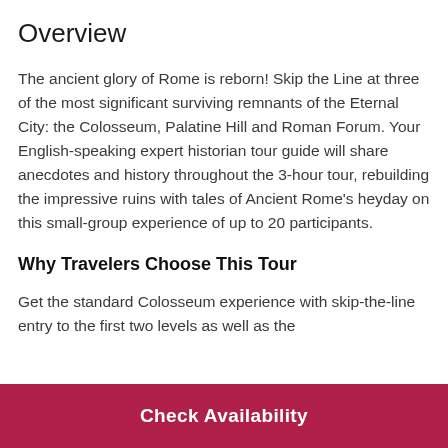Overview
The ancient glory of Rome is reborn! Skip the Line at three of the most significant surviving remnants of the Eternal City: the Colosseum, Palatine Hill and Roman Forum. Your English-speaking expert historian tour guide will share anecdotes and history throughout the 3-hour tour, rebuilding the impressive ruins with tales of Ancient Rome's heyday on this small-group experience of up to 20 participants.
Why Travelers Choose This Tour
Get the standard Colosseum experience with skip-the-line entry to the first two levels as well as the
[Figure (other): Red 'Check Availability' call-to-action button at the bottom of the page]